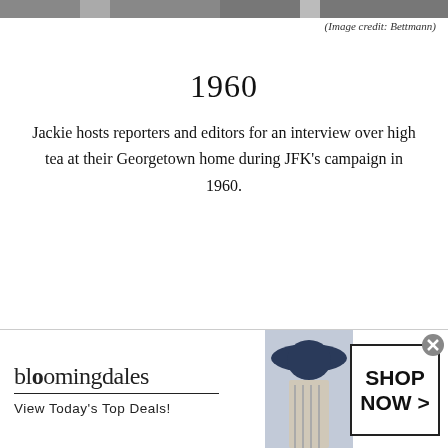[Figure (photo): Top portion of a black and white photograph, cropped at the top of the page]
(Image credit: Bettmann)
1960
Jackie hosts reporters and editors for an interview over high tea at their Georgetown home during JFK's campaign in 1960.
[Figure (photo): Bloomingdales advertisement banner showing a woman in a wide-brimmed hat with text: bloomingdales, View Today's Top Deals!, SHOP NOW >]